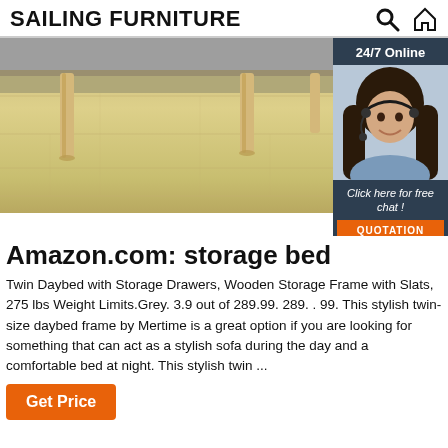SAILING FURNITURE
[Figure (photo): Photo of wooden furniture legs on a light wood floor with a grey sofa visible, with an overlaid customer service chat widget showing a female agent with headset and '24/7 Online' text, 'Click here for free chat!' and a QUOTATION button]
Amazon.com: storage bed
Twin Daybed with Storage Drawers, Wooden Storage Frame with Slats, 275 lbs Weight Limits.Grey. 3.9 out of 289.99. 289. . 99. This stylish twin-size daybed frame by Mertime is a great option if you are looking for something that can act as a stylish sofa during the day and a comfortable bed at night. This stylish twin ...
Get Price